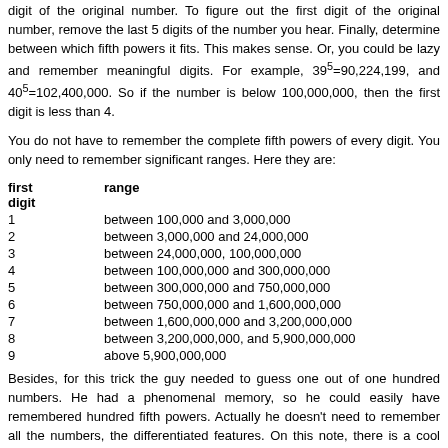digit of the original number. To figure out the first digit of the original number, remove the last 5 digits of the number you hear. Finally, determine between which fifth powers it fits. This makes sense. Or, you could be lazy and remember only meaningful digits. For example, 39^5=90,224,199, and 40^5=102,400,000. So if the number is below 100,000,000, then the first digit is less than 4.
You do not have to remember the complete fifth powers of every digit. You only need to remember significant ranges. Here they are:
| first digit | range |
| --- | --- |
| 1 | between 100,000 and 3,000,000 |
| 2 | between 3,000,000 and 24,000,000 |
| 3 | between 24,000,000, 100,000,000 |
| 4 | between 100,000,000 and 300,000,000 |
| 5 | between 300,000,000 and 750,000,000 |
| 6 | between 750,000,000 and 1,600,000,000 |
| 7 | between 1,600,000,000 and 3,200,000,000 |
| 8 | between 3,200,000,000, and 5,900,000,000 |
| 9 | above 5,900,000,000 |
Besides, for this trick the guy needed to guess one out of one hundred numbers. He had a phenomenal memory, so he could easily have remembered all one hundred fifth powers. Actually he doesn't need to remember all the numbers, just the differentiated features. On this note, there is a cool thing you can do. You can guess the number before the whole fifth power is announced. One caveat: a two digit number x and 10x when taken to the fifth power, both begin with the same long string of digits. So we can advise the audience not to suggest a 1-digit number or a number divisible by 10, as that is too easy (without telling the...